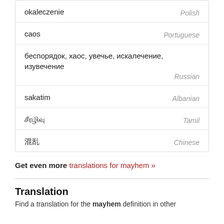okaleczenie — Polish
caos — Portuguese
беспорядок, хаос, увечье, искалечение, изувечение — Russian
sakatim — Albanian
சீரழிவு — Tamil
混乱 — Chinese
Get even more translations for mayhem »
Translation
Find a translation for the mayhem definition in other